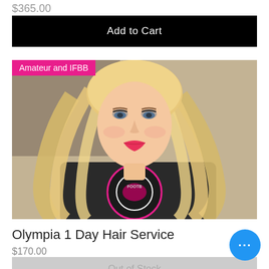$365.00
Add to Cart
[Figure (photo): Woman with long blonde wavy hair, wearing a dark football-themed shirt, smiling. Pink 'Amateur and IFBB' badge overlaid on top-left of image.]
Olympia 1 Day Hair Service
$170.00
Out of Stock